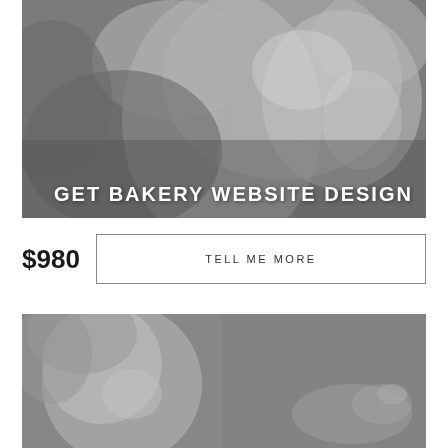[Figure (photo): Black and white close-up photo of a classical marble sculpture showing muscular torso and arms]
GET BAKERY WEBSITE DESIGN
$980
TELL ME MORE
[Figure (photo): Black and white close-up photo of a classical marble sculpture showing a face/head and a hand]